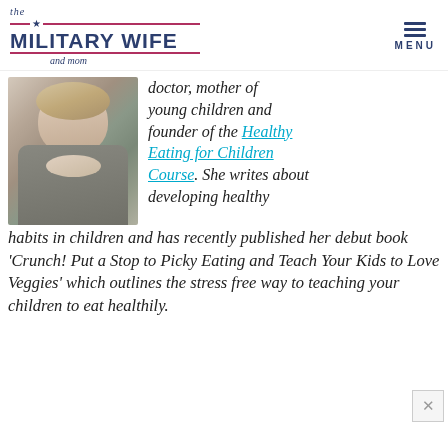the MILITARY WIFE and mom | MENU
[Figure (photo): Portrait photo of a smiling woman with blonde hair, resting her face on her hands outdoors]
doctor, mother of young children and founder of the Healthy Eating for Children Course. She writes about developing healthy habits in children and has recently published her debut book ‘Crunch! Put a Stop to Picky Eating and Teach Your Kids to Love Veggies’ which outlines the stress free way to teaching your children to eat healthily.